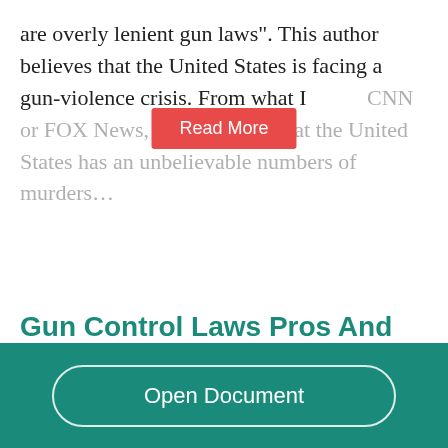are overly lenient gun laws". This author believes that the United States is facing a gun-violence crisis. From what I [read on] CNN or FOX News, I also believe that the United States has an unbelievable numbers of murders…
Gun Control Laws Pros And Cons
1614 Words  | 7 Pages
The effort...